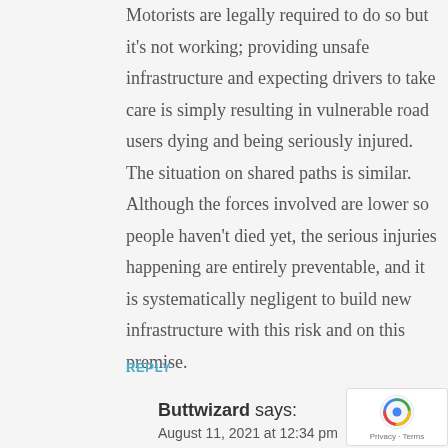Motorists are legally required to do so but it's not working; providing unsafe infrastructure and expecting drivers to take care is simply resulting in vulnerable road users dying and being seriously injured. The situation on shared paths is similar. Although the forces involved are lower so people haven't died yet, the serious injuries happening are entirely preventable, and it is systematically negligent to build new infrastructure with this risk and on this premise.
REPLY
Buttwizard says:
August 11, 2021 at 12:34 pm
I'm joking but not joking. Bikes have